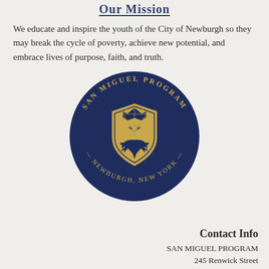Our Mission
We educate and inspire the youth of the City of Newburgh so they may break the cycle of poverty, achieve new potential, and embrace lives of purpose, faith, and truth.
[Figure (logo): San Miguel Program circular logo — dark navy blue circle with gold shield emblem in center featuring a star and eagle/bird motif, surrounded by text 'SAN MIGUEL PROGRAM' on top arc and 'NEWBURGH, NEW YORK' on bottom arc, with decorative dash elements]
Contact Info
SAN MIGUEL PROGRAM
245 Renwick Street